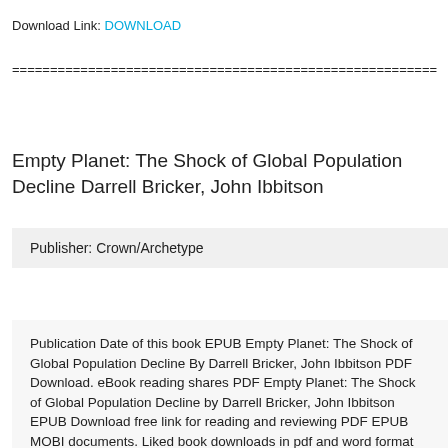Download Link: DOWNLOAD
========================================================
Empty Planet: The Shock of Global Population Decline Darrell Bricker, John Ibbitson
Publisher: Crown/Archetype
Publication Date of this book EPUB Empty Planet: The Shock of Global Population Decline By Darrell Bricker, John Ibbitson PDF Download. eBook reading shares PDF Empty Planet: The Shock of Global Population Decline by Darrell Bricker, John Ibbitson EPUB Download free link for reading and reviewing PDF EPUB MOBI documents. Liked book downloads in pdf and word format ISBN Read Books Online Without Dow